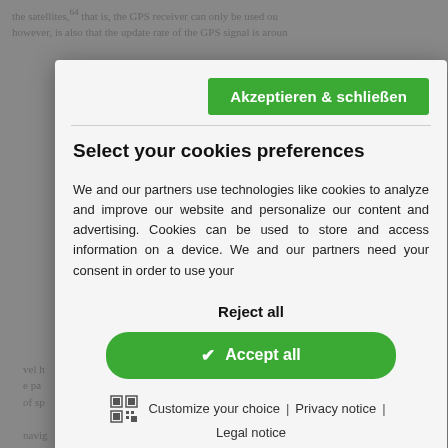the satellites,64 that is, the GPS receiver can only be used ou however, is also that the update rate of the GPS signal is aroun
[Figure (screenshot): Cookie consent modal dialog with green 'Akzeptieren & schließen' button at top, title 'Select your cookies preferences', body text about cookies and partners, 'Reject all' button, green rounded 'Accept all' button with checkmark, and footer links: Customize your choice | Privacy notice | Legal notice]
position
– Sight navigation: Based on the comparison of suitable acco